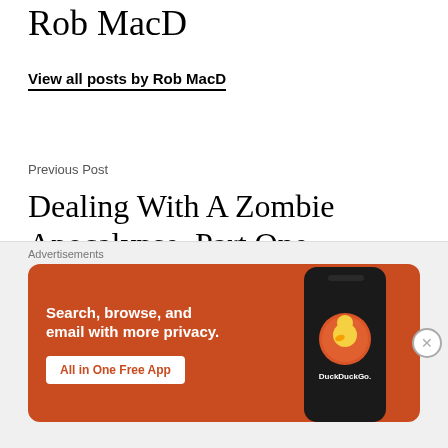Rob MacD
View all posts by Rob MacD
Previous Post
Dealing With A Zombie Apocalypse, Part One
Next Post
[Figure (screenshot): DuckDuckGo advertisement banner: orange background with white text 'Search, browse, and email with more privacy. All in One Free App' and a phone mockup showing the DuckDuckGo logo]
Advertisements